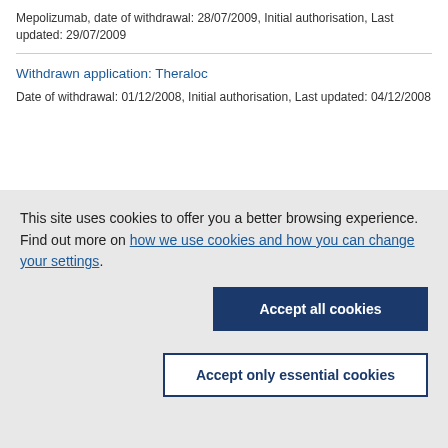Mepolizumab, date of withdrawal: 28/07/2009, Initial authorisation, Last updated: 29/07/2009
Withdrawn application: Theraloc
Date of withdrawal: 01/12/2008, Initial authorisation, Last updated: 04/12/2008
This site uses cookies to offer you a better browsing experience. Find out more on how we use cookies and how you can change your settings.
Accept all cookies
Accept only essential cookies